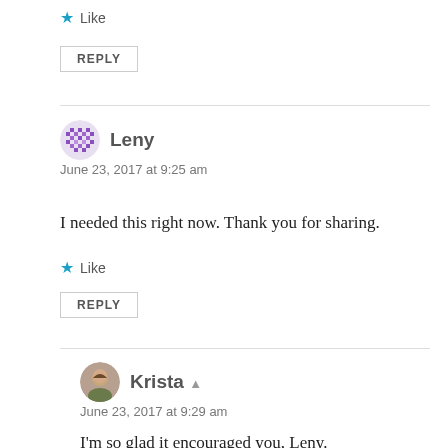Like
REPLY
Leny
June 23, 2017 at 9:25 am
I needed this right now. Thank you for sharing.
Like
REPLY
Krista
June 23, 2017 at 9:29 am
I'm so glad it encouraged you, Leny.